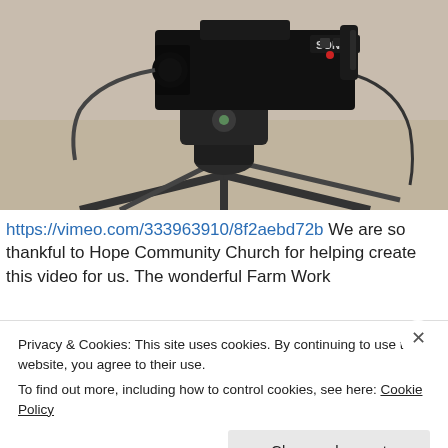[Figure (photo): A Sony professional video camera on a tripod, viewed from above/side angle. The camera is black and mounted on a fluid head tripod. Cables are visible. Concrete/light floor is visible in background.]
https://vimeo.com/333963910/8f2aebd72b We are so thankful to Hope Community Church for helping create this video for us. The wonderful Farm Work
Privacy & Cookies: This site uses cookies. By continuing to use this website, you agree to their use.
To find out more, including how to control cookies, see here: Cookie Policy
Close and accept